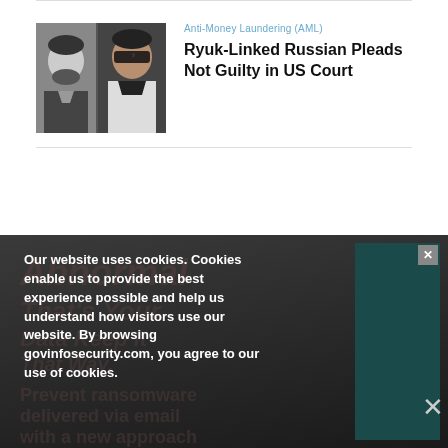[Figure (photo): Two men's photos side by side — a black and white ID-style headshot on the left and a color photo of a man in sunglasses and white shirt on the right.]
Anti-Money Laundering (AML)
Ryuk-Linked Russian Pleads Not Guilty in US Court
Our website uses cookies. Cookies enable us to provide the best experience possible and help us understand how visitors use our website. By browsing govinfosecurity.com, you agree to our use of cookies.